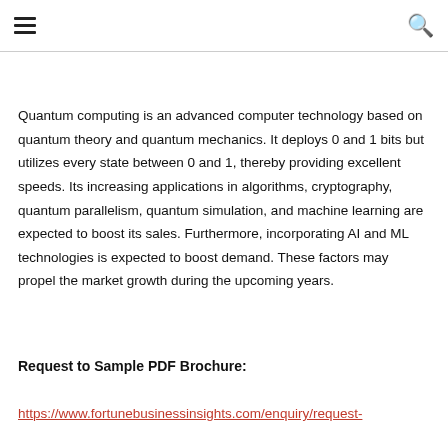[hamburger menu] [search icon]
Quantum computing is an advanced computer technology based on quantum theory and quantum mechanics. It deploys 0 and 1 bits but utilizes every state between 0 and 1, thereby providing excellent speeds. Its increasing applications in algorithms, cryptography, quantum parallelism, quantum simulation, and machine learning are expected to boost its sales. Furthermore, incorporating AI and ML technologies is expected to boost demand. These factors may propel the market growth during the upcoming years.
Request to Sample PDF Brochure:
https://www.fortunebusinessinsights.com/enquiry/request-